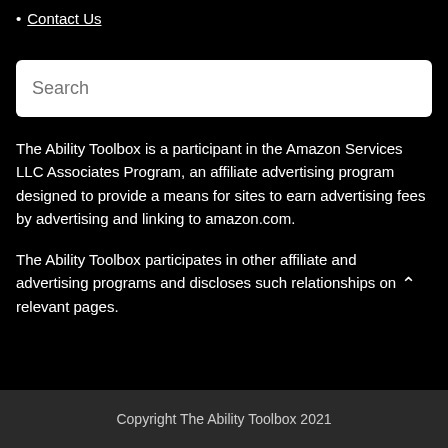Contact Us
Search
The Ability Toolbox is a participant in the Amazon Services LLC Associates Program, an affiliate advertising program designed to provide a means for sites to earn advertising fees by advertising and linking to amazon.com.
The Ability Toolbox participates in other affiliate and advertising programs, and discloses such relationships on relevant pages.
Copyright The Ability Toolbox 2021